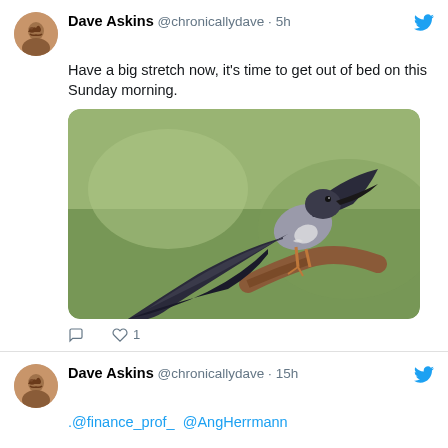Dave Askins @chronicallydave · 5h
Have a big stretch now, it's time to get out of bed on this Sunday morning.
[Figure (photo): A bird stretching its wing outward while perched on a branch, with a green blurred background]
♡ 1
Dave Askins @chronicallydave · 15h
.@finance_prof_ @AngHerrmann

This one was from earlier in the summer. I was not sure what kind of egret this one was.